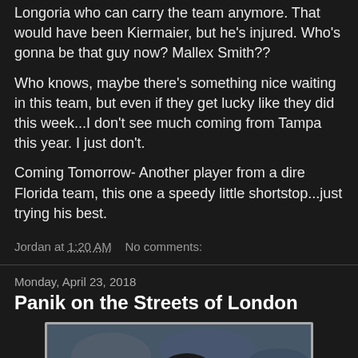Longoria who can carry the team anymore. That would have been Kiermaier, but he's injured. Who's gonna be that guy now? Mallex Smith??
Who knows, maybe there's something nice waiting in this team, but even if they get lucky like they did this week...I don't see much coming from Tampa this year. I just don't.
Coming Tomorrow- Another player from a dire Florida team, this one a speedy little shortstop...just trying his best.
Jordan at 1:20 AM   No comments:
Monday, April 23, 2018
Panik on the Streets of London
[Figure (photo): Baseball player in batting helmet looking upward, crowd in background, appears to be wearing orange and black Giants uniform]